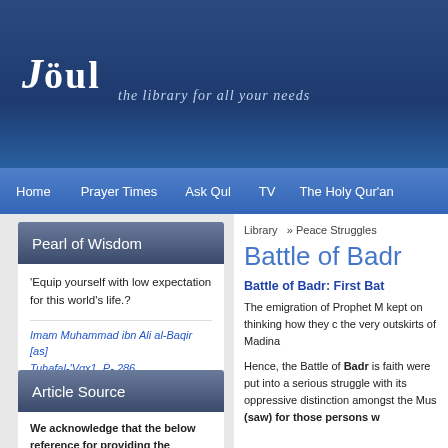Jöul — the library for all your needs
Home | Prayer Times | Ask Qul | TV | The Holy Qur'an
Pearl of Wisdom
'Equip yourself with low expectation for this world's life.?
Imam Muhammad ibn Ali al-Baqir [as]
Tuhafal-'Vqx1, P- 286
Article Source
We acknowledge that the below reference for providing the original file containing the 'Peace
Library » Peace Struggles
Battle of Badr
Battle of Badr: First Bat
The emigration of Prophet M kept on thinking how they c the very outskirts of Madina
Hence, the Battle of Badr is faith were put into a serious struggle with its oppressive distinction amongst the Mus (saw) for those persons w